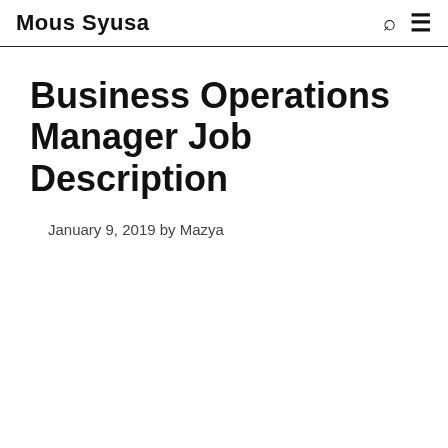Mous Syusa
Business Operations Manager Job Description
January 9, 2019 by Mazya